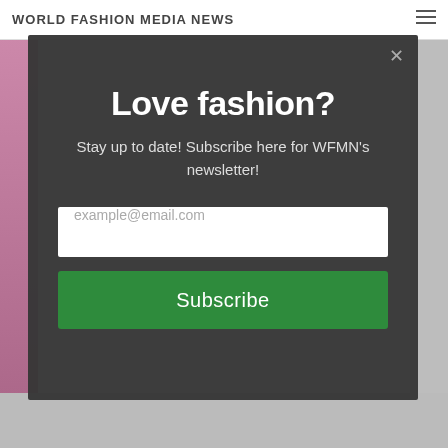WORLD FASHION MEDIA NEWS
[Figure (screenshot): Website screenshot showing a modal newsletter subscription popup over the World Fashion Media News website background]
Love fashion?
Stay up to date! Subscribe here for WFMN's newsletter!
example@email.com
Subscribe